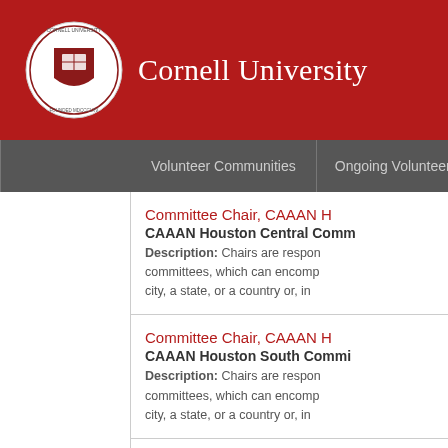Cornell University
Volunteer Communities | Ongoing Volunteer Opportunities | D
Committee Chair, CAAAN H…
CAAAN Houston Central Comm…
Description: Chairs are respon… committees, which can encomp… city, a state, or a country or, in…
Committee Chair, CAAAN H…
CAAAN Houston South Commi…
Description: Chairs are respon… committees, which can encomp… city, a state, or a country or, in…
Committee Chair, CAAAN H…